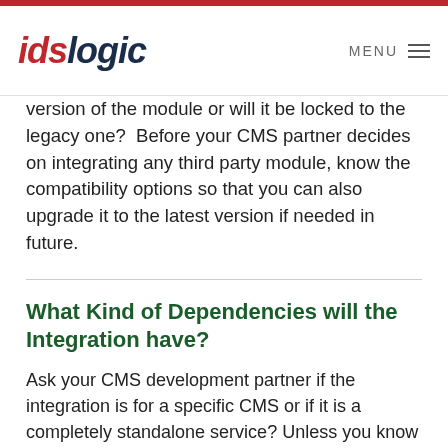idslogic  MENU
version of the module or will it be locked to the legacy one?  Before your CMS partner decides on integrating any third party module, know the compatibility options so that you can also upgrade it to the latest version if needed in future.
What Kind of Dependencies will the Integration have?
Ask your CMS development partner if the integration is for a specific CMS or if it is a completely standalone service? Unless you know more about the integration and its